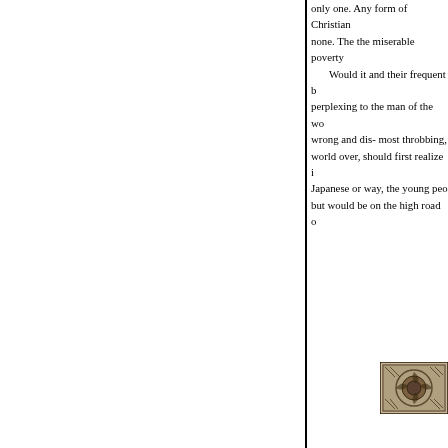only one. Any form of Christian none. The the miserable poverty
Would it and their frequent b perplexing to the man of the wo wrong and dis- most throbbing, world over, should first realize i Japanese or way, the young peo but would be on the high road o
[Figure (illustration): Small decorative ornament or emblem, appears to be a detailed engraving or woodcut design]
T
B